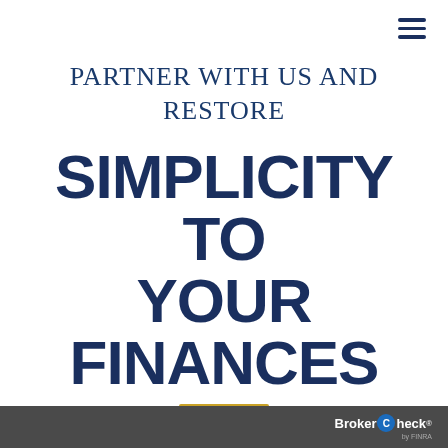[Figure (other): Hamburger menu icon (three horizontal lines) in top right corner]
PARTNER WITH US AND RESTORE
SIMPLICITY TO YOUR FINANCES
[Figure (other): Gold horizontal underline beneath the main title]
BrokerCheck